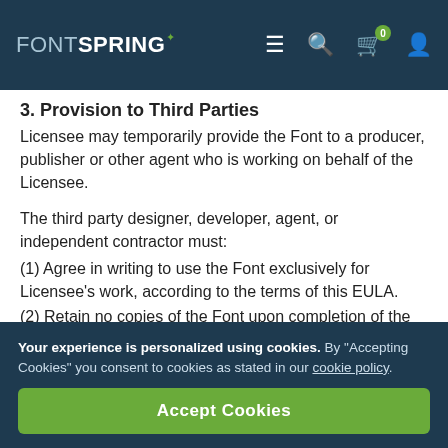FONTSPRING — navigation bar with menu, search, cart (0), and user icons
3. Provision to Third Parties
Licensee may temporarily provide the Font to a producer, publisher or other agent who is working on behalf of the Licensee.
The third party designer, developer, agent, or independent contractor must:
(1) Agree in writing to use the Font exclusively for Licensee's work, according to the terms of this EULA.
(2) Retain no copies of the Font upon completion of the work.
Your experience is personalized using cookies. By “Accepting Cookies” you consent to cookies as stated in our cookie policy.
Accept Cookies